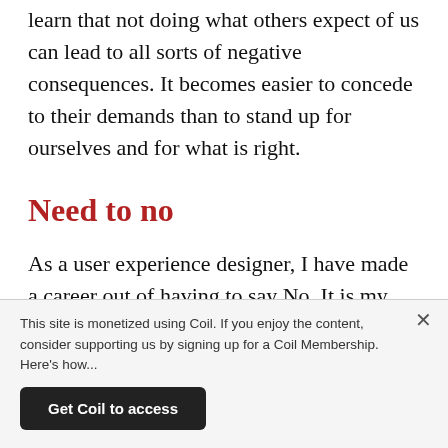learn that not doing what others expect of us can lead to all sorts of negative consequences. It becomes easier to concede to their demands than to stand up for ourselves and for what is right.
Need to no
As a user experience designer, I have made a career out of having to say No. It is my job to put an end to bad design practices within an organization before I can make any progress on improving the lives of our customers. And it's
This site is monetized using Coil. If you enjoy the content, consider supporting us by signing up for a Coil Membership. Here's how...